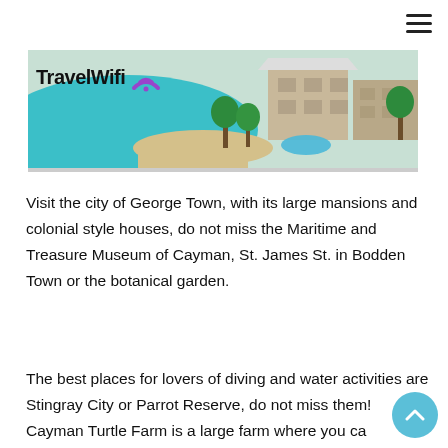[Figure (photo): Aerial photo of a coastal resort with turquoise water, beach, palm trees, and buildings with white/tan roofs. TravelWifi logo with RSS/wifi icon overlaid on top-left.]
Visit the city of George Town, with its large mansions and colonial style houses, do not miss the Maritime and Treasure Museum of Cayman, St. James St. in Bodden Town or the botanical garden.
The best places for lovers of diving and water activities are Stingray City or Parrot Reserve, do not miss them!
Cayman Turtle Farm is a large farm where you ca learn all about this beautiful animal species, they